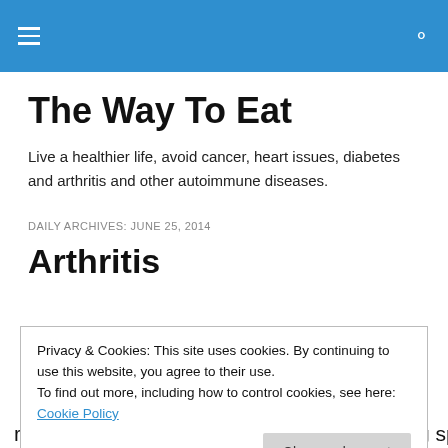The Way To Eat
Live a healthier life, avoid cancer, heart issues, diabetes and arthritis and other autoimmune diseases.
DAILY ARCHIVES: JUNE 25, 2014
Arthritis
Privacy & Cookies: This site uses cookies. By continuing to use this website, you agree to their use.
To find out more, including how to control cookies, see here: Cookie Policy
rheumatoid, Lupus, psoriatic, and ankylosing spondylitis